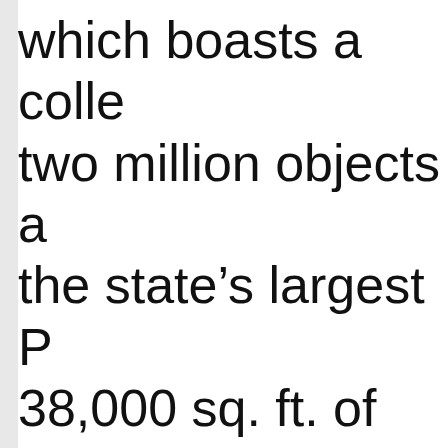which boasts a collection of two million objects and the state's largest P… 38,000 sq. ft. of exh… including a cultural h… and a fine art collec…
Earlier in his career as president of the Y…